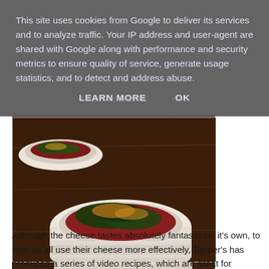This site uses cookies from Google to deliver its services and to analyze traffic. Your IP address and user-agent are shared with Google along with performance and security metrics to ensure quality of service, generate usage statistics, and to detect and address abuse.
LEARN MORE    OK
[Figure (photo): Close-up photo of spinach and cheese souffles in white ramekins on a wooden surface]
Although the cheese tastes absolutely fantastic on it's own, to help us all use their cheese more effectively, Barber's has produced a series of video recipes, which are great for getting some cooking inspiration.
I was sent the ingredients to make Spinach and Cheese Souffles (follow the link for a recipe). I have never actually made a souffle before, so it was useful to be able to watch